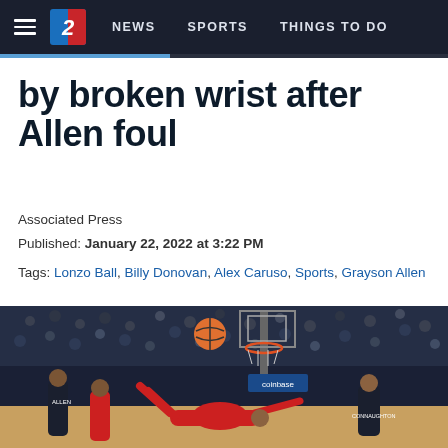NEWS | SPORTS | THINGS TO DO
by broken wrist after Allen foul
Associated Press
Published: January 22, 2022 at 3:22 PM
Tags: Lonzo Ball, Billy Donovan, Alex Caruso, Sports, Grayson Allen
[Figure (photo): Basketball game action photo: a player in a red Chicago Bulls jersey (number 6) falling backwards/upside-down after a hard foul, with other players around him and the basketball hoop and arena crowd visible in the background. A Coinbase advertisement is visible on the backboard support.]